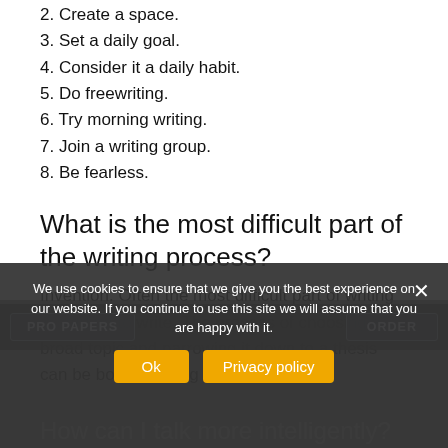2. Create a space.
3. Set a daily goal.
4. Consider it a daily habit.
5. Do freewriting.
6. Try morning writing.
7. Join a writing group.
8. Be fearless.
What is the most difficult part of the writing process?
Invention. Often the most difficult part of writing is starting to write. The process of choosing a broad topic and narrowing it down to a thesis can be both daunting and frustrating.
We use cookies to ensure that we give you the best experience on our website. If you continue to use this site we will assume that you are happy with it.
How can I talk more intelligently?